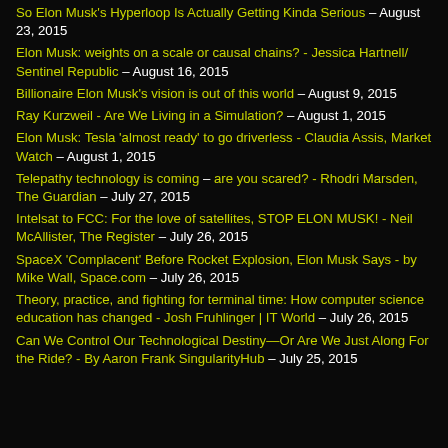So Elon Musk's Hyperloop Is Actually Getting Kinda Serious – August 23, 2015
Elon Musk: weights on a scale or causal chains? - Jessica Hartnell/ Sentinel Republic – August 16, 2015
Billionaire Elon Musk's vision is out of this world – August 9, 2015
Ray Kurzweil - Are We Living in a Simulation? – August 1, 2015
Elon Musk: Tesla 'almost ready' to go driverless - Claudia Assis, Market Watch – August 1, 2015
Telepathy technology is coming – are you scared? - Rhodri Marsden, The Guardian – July 27, 2015
Intelsat to FCC: For the love of satellites, STOP ELON MUSK! - Neil McAllister, The Register – July 26, 2015
SpaceX 'Complacent' Before Rocket Explosion, Elon Musk Says - by Mike Wall, Space.com – July 26, 2015
Theory, practice, and fighting for terminal time: How computer science education has changed - Josh Fruhlinger | IT World – July 26, 2015
Can We Control Our Technological Destiny—Or Are We Just Along For the Ride? - By Aaron Frank SingularityHub – July 25, 2015